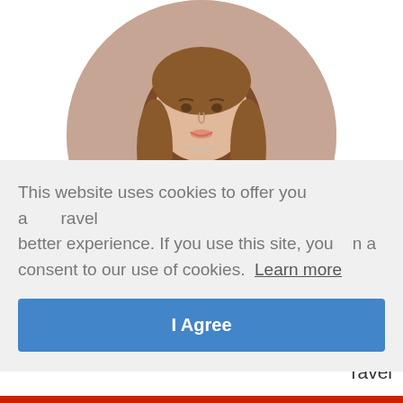[Figure (photo): Circular cropped photo of a woman with long brown wavy hair wearing a yellow top, holding a mug with a pumpkin design, standing against a beige/stone wall background.]
Hey there... it's so nice to meet you! I'm Heidi: a Frugal
This website uses cookies to offer you a better experience. If you use this site, you consent to our use of cookies. Learn more
I Agree